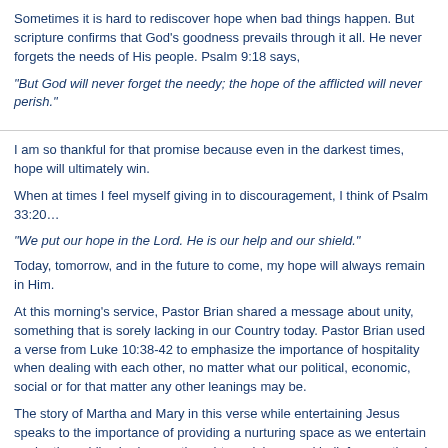Sometimes it is hard to rediscover hope when bad things happen. But scripture confirms that God's goodness prevails through it all. He never forgets the needs of His people. Psalm 9:18 says,
“But God will never forget the needy; the hope of the afflicted will never perish.”
I am so thankful for that promise because even in the darkest times, hope will ultimately win.
When at times I feel myself giving in to discouragement, I think of Psalm 33:20…
“We put our hope in the Lord. He is our help and our shield.”
Today, tomorrow, and in the future to come, my hope will always remain in Him.
At this morning’s service, Pastor Brian shared a message about unity, something that is sorely lacking in our Country today. Pastor Brian used a verse from Luke 10:38-42 to emphasize the importance of hospitality when dealing with each other, no matter what our political, economic, social or for that matter any other leanings may be.
The story of Martha and Mary in this verse while entertaining Jesus speaks to the importance of providing a nurturing space as we entertain each other while sharing our thoughts, opinions, and beliefs even though they may differ. Sometimes, as I watch and listen to friends argue and debate things, I recall a quote Thomas Jefferson shared with James Madison in the early days of our Country when things may have seemed just as chaotic. Thomas Jefferson wrote this to James Monroe in a private message…